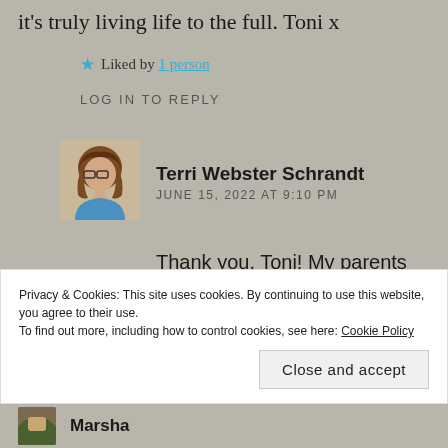it's truly living life to the full. Toni x
★ Liked by 1 person
LOG IN TO REPLY
Terri Webster Schrandt
JUNE 15, 2022 AT 9:10 PM
Thank you, Toni! My parents really instilled the love of the outdoors in us kids, a legacy we have passed on
Privacy & Cookies: This site uses cookies. By continuing to use this website, you agree to their use.
To find out more, including how to control cookies, see here: Cookie Policy
Close and accept
Marsha